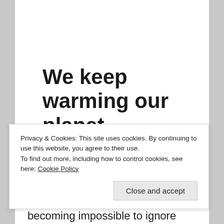We keep warming our planet
2017 will be the warmest year in history without an El Niño.
Privacy & Cookies: This site uses cookies. By continuing to use this website, you agree to their use.
To find out more, including how to control cookies, see here: Cookie Policy
Close and accept
becoming impossible to ignore